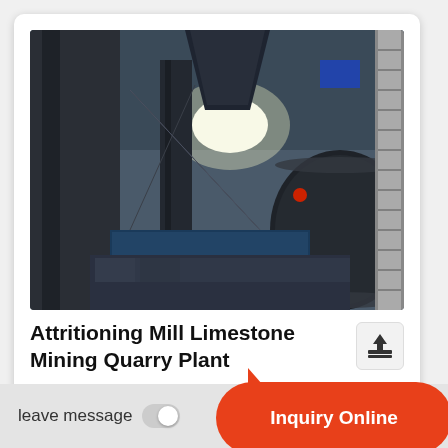[Figure (photo): Industrial attrition mill machinery in a limestone mining quarry plant. Large dark metal cylindrical structures, conveyor systems, steel framework, and industrial equipment visible indoors under bright lighting.]
Attritioning Mill Limestone Mining Quarry Plant
mar 20, 2013  attrition mill system layout options energy
leave message
Inquiry Online